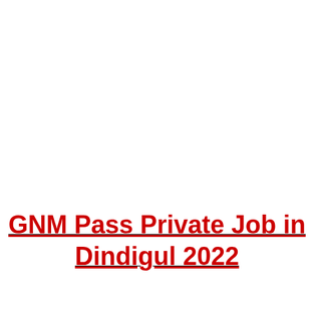GNM Pass Private Job in Dindigul 2022